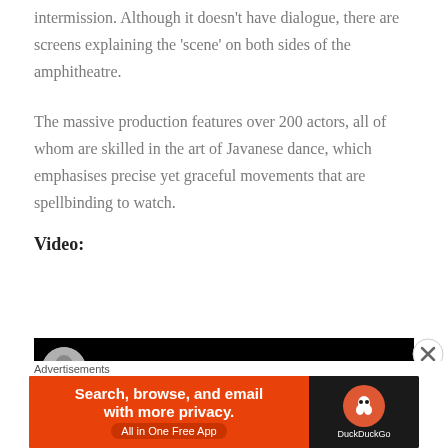intermission. Although it doesn't have dialogue, there are screens explaining the 'scene' on both sides of the amphitheatre.
The massive production features over 200 actors, all of whom are skilled in the art of Javanese dance, which emphasises precise yet graceful movements that are spellbinding to watch.
Video:
[Figure (screenshot): Black video thumbnail with a circular avatar/profile image on the left side]
[Figure (other): Close button (X circle) overlaid on the video area]
Advertisements
[Figure (other): DuckDuckGo advertisement banner: orange left panel with text 'Search, browse, and email with more privacy. All in One Free App' and dark right panel with DuckDuckGo logo]